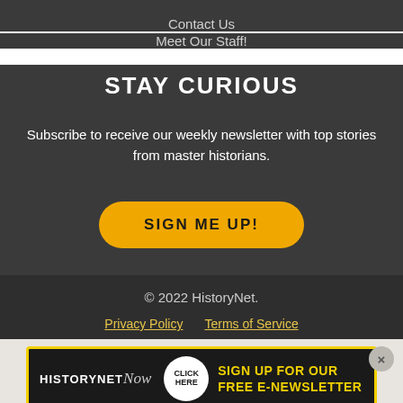Contact Us
Meet Our Staff!
STAY CURIOUS
Subscribe to receive our weekly newsletter with top stories from master historians.
SIGN ME UP!
© 2022 HistoryNet.
Privacy Policy     Terms of Service
[Figure (infographic): HistoryNet Now banner advertisement with yellow border on dark background. Shows 'HISTORYNETNOW' logo on left, a circular 'CLICK HERE' button in center, and 'SIGN UP FOR OUR FREE E-NEWSLETTER' text on right in yellow.]